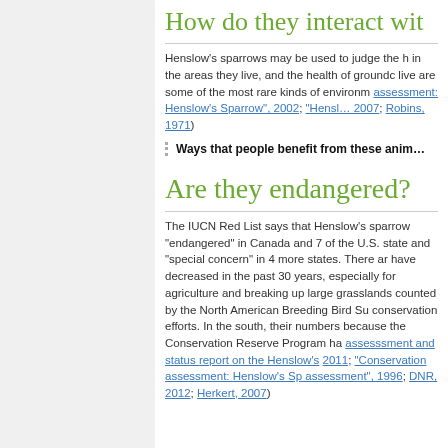How do they interact wit…
Henslow's sparrows may be used to judge the h… in the areas they live, and the health of groundc… live are some of the most rare kinds of environm… assessment: Henslow's Sparrow", 2002; "Hensl… 2007; Robins, 1971)
Ways that people benefit from these anim…
Are they endangered?
The IUCN Red List says that Henslow's sparrow… "endangered" in Canada and 7 of the U.S. state… and "special concern" in 4 more states. There ar… have decreased in the past 30 years, especially… for agriculture and breaking up large grasslands… counted by the North American Breeding Bird Su… conservation efforts. In the south, their numbers… because the Conservation Reserve Program ha… assesssment and status report on the Henslow's… 2011; "Conservation assessment: Henslow's Sp… assessment", 1996; DNR, 2012; Herkert, 2007)